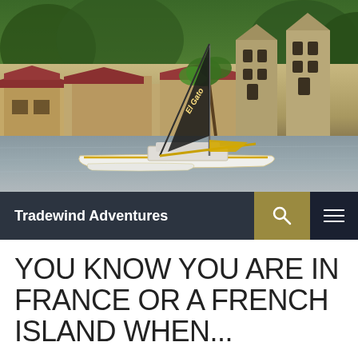[Figure (photo): A white catamaran sailboat named 'El Gato' moored in a harbor, with a Caribbean coastal town behind it featuring stone church towers with Gothic windows, colonial buildings with red roofs, and dense green tropical forest in the background.]
Tradewind Adventures
YOU KNOW YOU ARE IN FRANCE OR A FRENCH ISLAND WHEN...
FEBRUARY 18, 2016  •  ELGATOANNIE  •  LEAVE A COMMENT